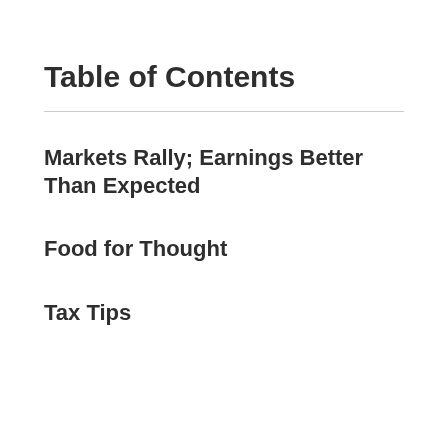Table of Contents
Markets Rally; Earnings Better Than Expected
Food for Thought
Tax Tips